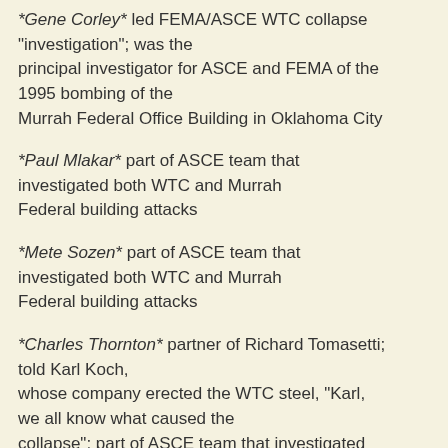*Gene Corley* led FEMA/ASCE WTC collapse "investigation"; was the principal investigator for ASCE and FEMA of the 1995 bombing of the Murrah Federal Office Building in Oklahoma City
*Paul Mlakar* part of ASCE team that investigated both WTC and Murrah Federal building attacks
*Mete Sozen* part of ASCE team that investigated both WTC and Murrah Federal building attacks
*Charles Thornton* partner of Richard Tomasetti; told Karl Koch, whose company erected the WTC steel, "Karl, we all know what caused the collapse"; part of ASCE team that investigated both WTC and Murrah Federal building attacks
*Richard Tomasetti* partner of Charles Thornton;